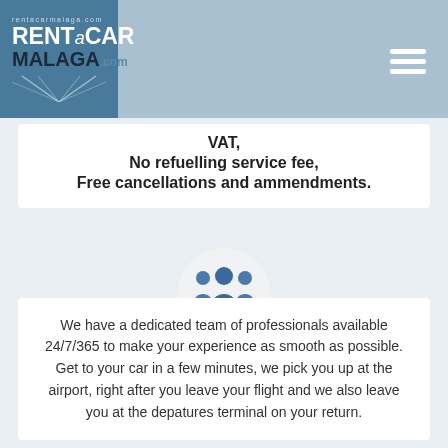[Figure (logo): RentaCar Malaga.com logo with road graphic on blue background]
VAT,
No refuelling service fee,
Free cancellations and ammendments.
[Figure (illustration): Three business people / team icon in blue on light grey circle background]
We have a dedicated team of professionals available 24/7/365 to make your experience as smooth as possible. Get to your car in a few minutes, we pick you up at the airport, right after you leave your flight and we also leave you at the depatures terminal on your return.